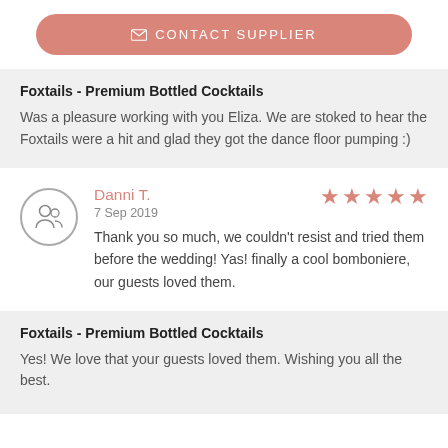[Figure (other): Contact Supplier button with envelope icon, salmon/rose color, rounded pill shape]
Foxtails - Premium Bottled Cocktails
Was a pleasure working with you Eliza. We are stoked to hear the Foxtails were a hit and glad they got the dance floor pumping :)
Danni T.
7 Sep 2019
Thank you so much, we couldn't resist and tried them before the wedding! Yas! finally a cool bomboniere, our guests loved them.
Foxtails - Premium Bottled Cocktails
Yes! We love that your guests loved them. Wishing you all the best.